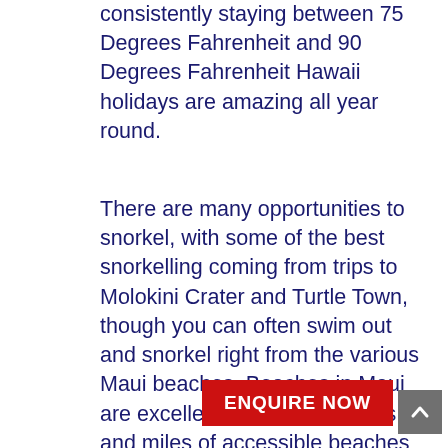consistently staying between 75 Degrees Fahrenheit and 90 Degrees Fahrenheit Hawaii holidays are amazing all year round.
There are many opportunities to snorkel, with some of the best snorkelling coming from trips to Molokini Crater and Turtle Town, though you can often swim out and snorkel right from the various Maui beaches. Beaches in Maui are excellent and there is miles and miles of accessible beaches for swimming and the varying shades and colours of the sand from white, green, black and gold is evidence of the island's ancient volcanic activity.
Visiting the Haleakala National Park and seeing the sunrise ov... and of Maui is truly a once in a lifetime...